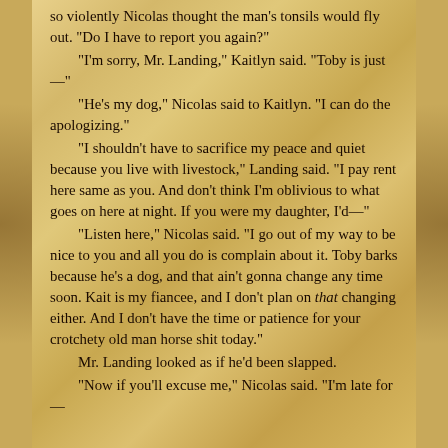so violently Nicolas thought the man's tonsils would fly out. "Do I have to report you again?"
	"I'm sorry, Mr. Landing," Kaitlyn said. "Toby is just —"
	"He's my dog," Nicolas said to Kaitlyn. "I can do the apologizing."
	"I shouldn't have to sacrifice my peace and quiet because you live with livestock," Landing said. "I pay rent here same as you. And don't think I'm oblivious to what goes on here at night. If you were my daughter, I'd—"
	"Listen here," Nicolas said. "I go out of my way to be nice to you and all you do is complain about it. Toby barks because he's a dog, and that ain't gonna change any time soon. Kait is my fiancee, and I don't plan on that changing either. And I don't have the time or patience for your crotchety old man horse shit today."
	Mr. Landing looked as if he'd been slapped.
	"Now if you'll excuse me," Nicolas said. "I'm late for—"